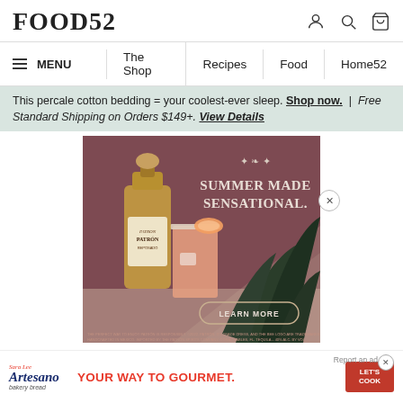FOOD52
MENU | The Shop | Recipes | Food | Home52
This percale cotton bedding = your coolest-ever sleep. Shop now. | Free Standard Shipping on Orders $149+. View Details
[Figure (photo): Patron tequila advertisement showing a bottle of Patrón tequila and a cocktail with grapefruit garnish against a mauve/dusty rose background with agave plant. Text reads SUMMER MADE SENSATIONAL. with a LEARN MORE button.]
[Figure (photo): Bottom advertisement banner for Sara Lee Artesano bakery bread reading YOUR WAY TO GOURMET. with a LET'S COOK button and a Report an ad label.]